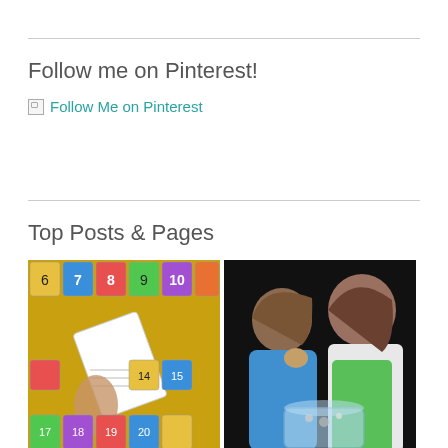Follow me on Pinterest!
Follow Me on Pinterest
Top Posts & Pages
[Figure (photo): A hand holding a white card next to a yellow board with colorful numbered pockets (numbers 6-20 visible)]
[Figure (photo): Two young children wearing aprons, looking at a glass container, doing a science experiment]